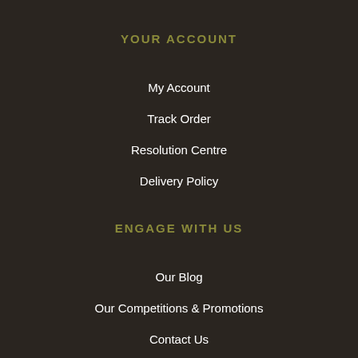YOUR ACCOUNT
My Account
Track Order
Resolution Centre
Delivery Policy
ENGAGE WITH US
Our Blog
Our Competitions & Promotions
Contact Us